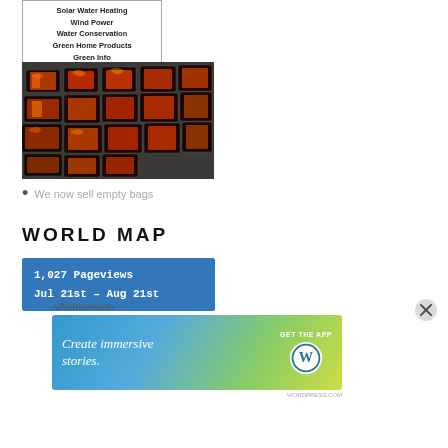[Figure (other): Navigation box with links: Solar Water Heating, Wind Power, Water Conservation, Green Home Products, Green Info]
[Figure (photo): Photo of multiple colorful packages/bags laid out on a dark surface, with flame and colorful artwork on the packaging]
We now sell empty bags
WORLD MAP
1,027 Pageviews
Jul 21st – Aug 21st
[Figure (other): Advertisement banner: Create immersive stories. GET THE APP [WordPress logo]]